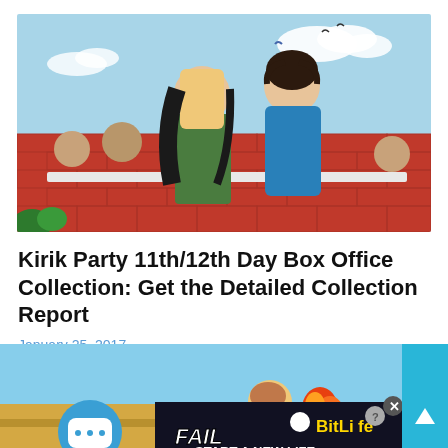[Figure (photo): Movie poster for Kirik Party showing a young woman in a green saree with glasses and a young man in a blue sweater sitting on a brick wall, with other characters and birds in the background against a blue sky]
Kirik Party 11th/12th Day Box Office Collection: Get the Detailed Collection Report
January 25, 2017
[Figure (photo): Bottom portion of a webpage showing an animated/illustrated scene at the top and a BitLife advertisement banner reading FAIL and START A NEW LIFE, with a chat bubble icon on the left and a scroll-up button on the right]